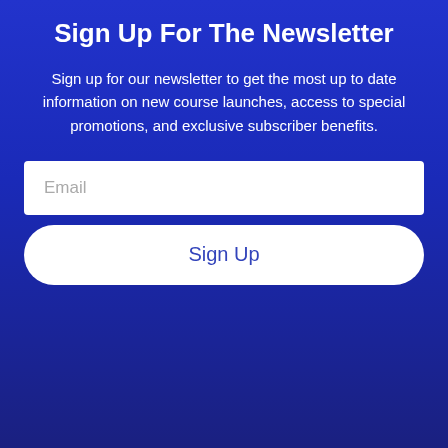Sign Up For The Newsletter
Sign up for our newsletter to get the most up to date information on new course launches, access to special promotions, and exclusive subscriber benefits.
Email
Sign Up